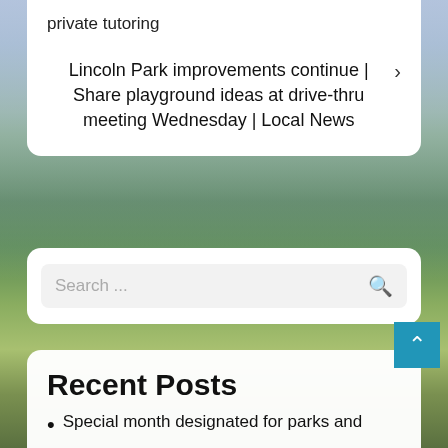private tutoring
Lincoln Park improvements continue | Share playground ideas at drive-thru meeting Wednesday | Local News
[Figure (photo): Outdoor nature photo showing green trees, mountain landscape with clouds, camping tent, and lush hillside scenery]
Search ...
Recent Posts
Special month designated for parks and